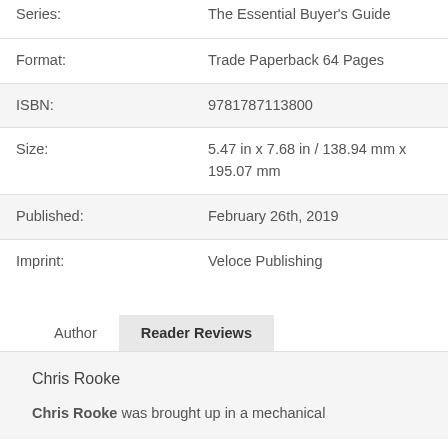| Series: | The Essential Buyer's Guide |
| Format: | Trade Paperback 64 Pages |
| ISBN: | 9781787113800 |
| Size: | 5.47 in x 7.68 in / 138.94 mm x 195.07 mm |
| Published: | February 26th, 2019 |
| Imprint: | Veloce Publishing |
Author   Reader Reviews
Chris Rooke
Chris Rooke was brought up in a mechanical